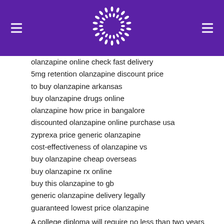olanzapine online check fast delivery
5mg retention olanzapine discount price
to buy olanzapine arkansas
buy olanzapine drugs online
olanzapine how price in bangalore
discounted olanzapine online purchase usa
zyprexa price generic olanzapine
cost-effectiveness of olanzapine vs
buy olanzapine cheap overseas
buy olanzapine rx online
buy this olanzapine to gb
generic olanzapine delivery legally
guaranteed lowest price olanzapine
A college diploma will require no less than two years for completion, while a career study course can be completed inside a matter of few months. powerful vision statement is a valuable part of your business. As with a lot of other careers, a pharmacy tech's geographic location can affect his or her earnings.